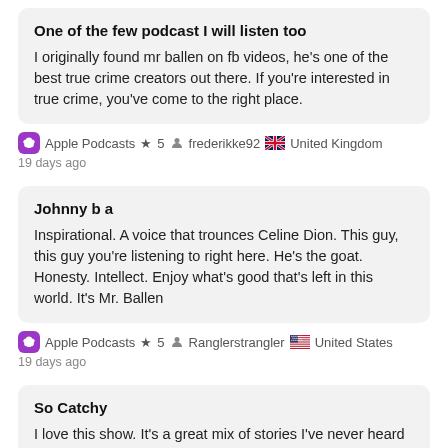One of the few podcast I will listen too
I originally found mr ballen on fb videos, he's one of the best true crime creators out there. If you're interested in true crime, you've come to the right place.
Apple Podcasts ★ 5  frederikke92  United Kingdom  19 days ago
Johnny b a
Inspirational. A voice that trounces Celine Dion. This guy, this guy you're listening to right here. He's the goat. Honesty. Intellect. Enjoy what's good that's left in this world. It's Mr. Ballen
Apple Podcasts ★ 5  Ranglerstrangler  United States  19 days ago
So Catchy
I love this show. It's a great mix of stories I've never heard and ones that I have, but told in a way I haven't or with details I